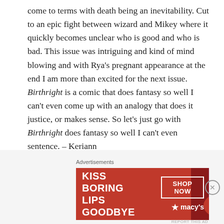come to terms with death being an inevitability. Cut to an epic fight between wizard and Mikey where it quickly becomes unclear who is good and who is bad. This issue was intriguing and kind of mind blowing and with Rya's pregnant appearance at the end I am more than excited for the next issue. Birthright is a comic that does fantasy so well I can't even come up with an analogy that does it justice, or makes sense. So let's just go with Birthright does fantasy so well I can't even sentence. – Keriann
(B) This comic is all-around a good time. I love the back and forth between the fantasy land and the modern landscape. It's so seamless and integrated. It's cool to see Mikey's life and his development in the other world and then to see him in his brother's. At times the way he
[Figure (other): Advertisement banner for Macy's lipstick product. Red background with text 'KISS BORING LIPS GOODBYE' on the left, a woman's face with red lips in the center, and 'SHOP NOW' button with Macy's star logo on the right.]